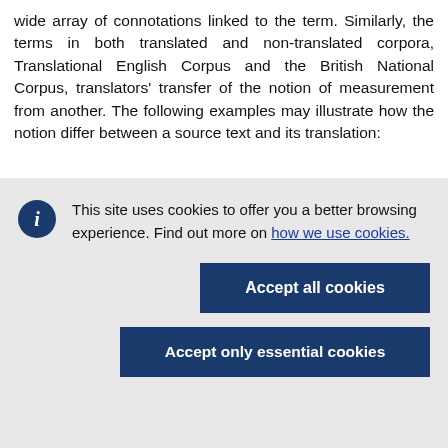wide array of connotations linked to the term. Similarly, the terms in both translated and non-translated corpora, Translational English Corpus and the British National Corpus, translators' transfer of the notion of measurement from another. The following examples may illustrate how the notion differ between a source text and its translation:
This site uses cookies to offer you a better browsing experience. Find out more on how we use cookies.
Accept all cookies
Accept only essential cookies